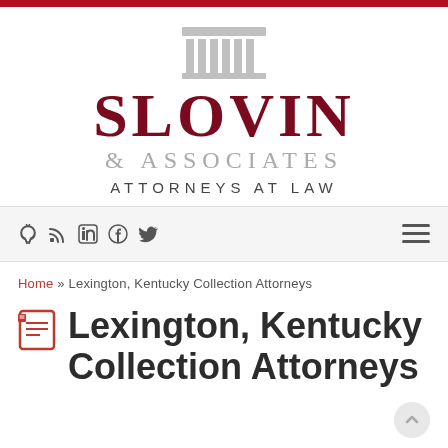[Figure (logo): Slovin & Associates Attorneys at Law logo with courthouse pillar graphic above 'SLOVIN' in dark red, '& ASSOCIATES' in gray, and 'ATTORNEYS AT LAW' in dark gray]
RSS LinkedIn Facebook Twitter icons and hamburger menu
Home » Lexington, Kentucky Collection Attorneys
Lexington, Kentucky Collection Attorneys